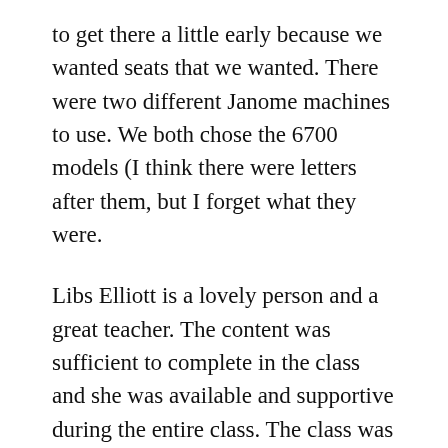to get there a little early because we wanted seats that we wanted. There were two different Janome machines to use. We both chose the 6700 models (I think there were letters after them, but I forget what they were.
Libs Elliott is a lovely person and a great teacher. The content was sufficient to complete in the class and she was available and supportive during the entire class. The class was Dynamic Stripes. If you want more than that, take the class. 🙂